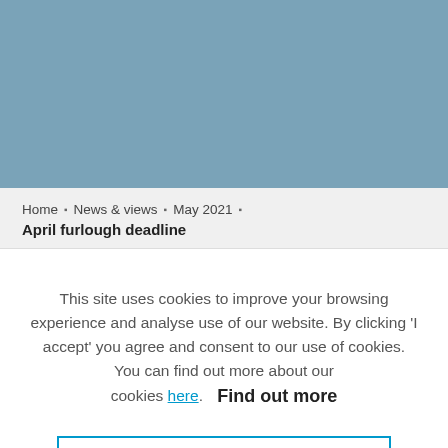[Figure (illustration): Solid blue-grey banner image at top of page]
Home » News & views » May 2021 » April furlough deadline
This site uses cookies to improve your browsing experience and analyse use of our website. By clicking 'I accept' you agree and consent to our use of cookies. You can find out more about our cookies here. Find out more
I ACCEPT